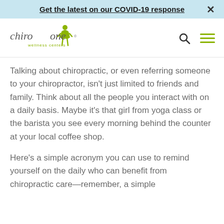Get the latest on our COVID-19 response ×
[Figure (logo): ChiroOne Wellness Centers logo — green figure with 'chiro one wellness centers' wordmark]
Talking about chiropractic, or even referring someone to your chiropractor, isn't just limited to friends and family. Think about all the people you interact with on a daily basis. Maybe it's that girl from yoga class or the barista you see every morning behind the counter at your local coffee shop.
Here's a simple acronym you can use to remind yourself on the daily who can benefit from chiropractic care—remember, a simple conversation is all it would take to change the